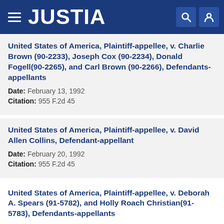JUSTIA
United States of America, Plaintiff-appellee, v. Charlie Brown (90-2233), Joseph Cox (90-2234), Donald Fogell(90-2265), and Carl Brown (90-2266), Defendants-appellants
Date: February 13, 1992
Citation: 955 F.2d 45
United States of America, Plaintiff-appellee, v. David Allen Collins, Defendant-appellant
Date: February 20, 1992
Citation: 955 F.2d 45
United States of America, Plaintiff-appellee, v. Deborah A. Spears (91-5782), and Holly Roach Christian(91-5783), Defendants-appellants